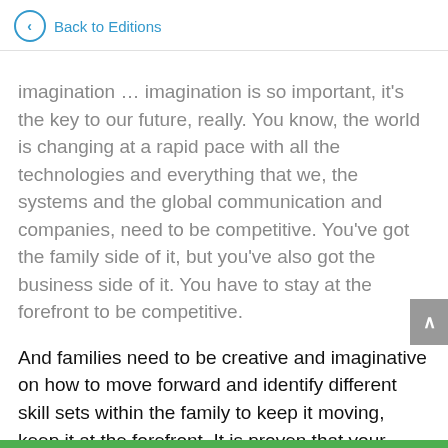Back to Editions
imagination … imagination is so important, it's the key to our future, really. You know, the world is changing at a rapid pace with all the technologies and everything that we, the systems and the global communication and companies, need to be competitive. You've got the family side of it, but you've also got the business side of it. You have to stay at the forefront to be competitive.
And families need to be creative and imaginative on how to move forward and identify different skill sets within the family to keep it moving, keep it at the forefront. It is proven that your imagination is like a muscle. So you have to exercise it, by being creative and playful, you're tapping in to your imagination and when you go into what is described as an Alpha brainwave state, it's a kind of wait for relaxation. It's almost meditation. When you're doing something creative, you go into a different state which